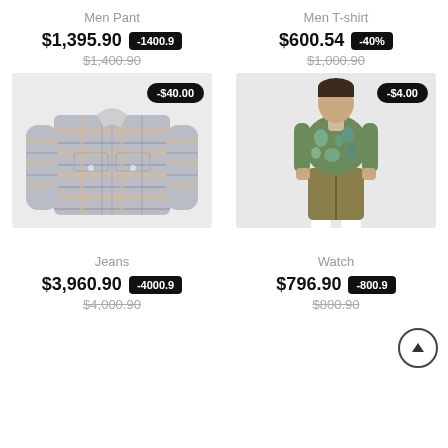Men Pant
$1,395.90  -1400.9
$1,400.90
[Figure (photo): Plaid flannel overshirt/jacket in grey and beige check pattern with discount badge -$40.00]
Men T-shirt
$600.54  -40%
$1,000.90
[Figure (photo): Man wearing green floral/tie-dye long sleeve shirt with khaki shorts, discount badge -$4.00]
Jeans
$3,960.90  -4000.9
$4,000.90
Watch
$796.90  -800.9
$800.90